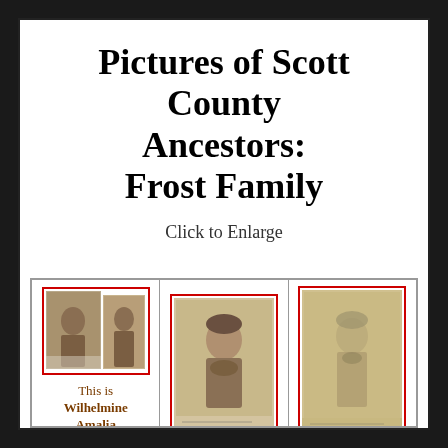Pictures of Scott County Ancestors: Frost Family
Click to Enlarge
[Figure (photo): Three vintage portrait photographs of Frost Family ancestors. Left cell contains two small sepia photos with red border. Center cell contains a sepia portrait of a woman in Victorian dress. Right cell contains a faded sepia portrait of a man.]
This is Wilhelmine Amalia (Amelia)